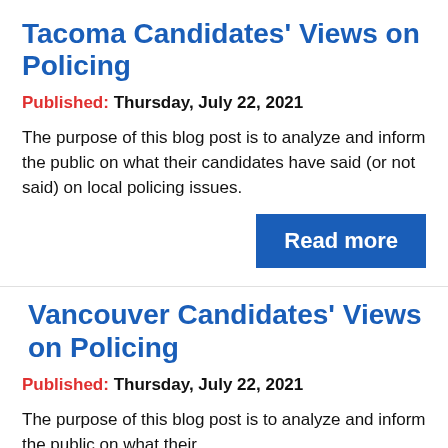Tacoma Candidates' Views on Policing
Published: Thursday, July 22, 2021
The purpose of this blog post is to analyze and inform the public on what their candidates have said (or not said) on local policing issues.
Read more
Vancouver Candidates' Views on Policing
Published: Thursday, July 22, 2021
The purpose of this blog post is to analyze and inform the public on what their